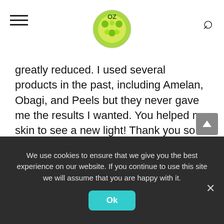OZ [logo] [hamburger menu] [search icon]
greatly reduced. I used several products in the past, including Amelan, Obagi, and Peels but they never gave me the results I wanted. You helped my skin to see a new light! Thank you so much...
Chlorella and spirulina are truly the most astounding food sources on planet Earth. In this special report, you'll learn about the astonishing health benefits and nutritional achievements of these two foods, and
We use cookies to ensure that we give you the best experience on our website. If you continue to use this site we will assume that you are happy with it.